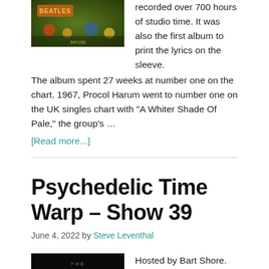[Figure (photo): Beatles album cover image with colorful foliage and text]
recorded over 700 hours of studio time. It was also the first album to print the lyrics on the sleeve. The album spent 27 weeks at number one on the chart. 1967, Procol Harum went to number one on the UK singles chart with "A Whiter Shade Of Pale," the group's ...
[Read more...]
Psychedelic Time Warp – Show 39
June 4, 2022 by Steve Leventhal
[Figure (photo): The Doors logo/album image with dark background and gold text]
Hosted by Bart Shore. This generic show features music